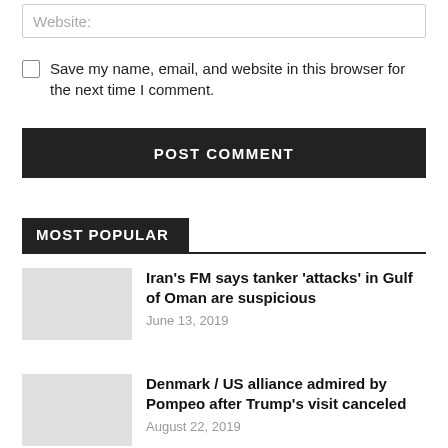Website:
Save my name, email, and website in this browser for the next time I comment.
POST COMMENT
MOST POPULAR
Iran's FM says tanker 'attacks' in Gulf of Oman are suspicious
June 13, 2019
Denmark / US alliance admired by Pompeo after Trump's visit canceled
August 22, 2019